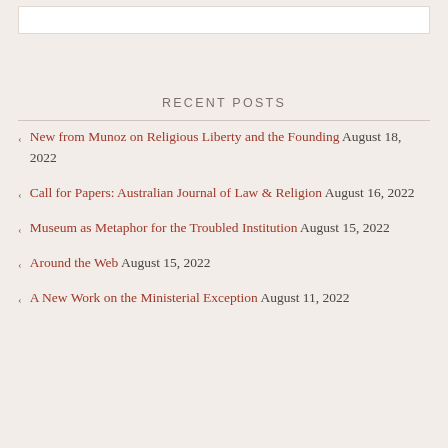RECENT POSTS
New from Munoz on Religious Liberty and the Founding August 18, 2022
Call for Papers: Australian Journal of Law & Religion August 16, 2022
Museum as Metaphor for the Troubled Institution August 15, 2022
Around the Web August 15, 2022
A New Work on the Ministerial Exception August 11, 2022